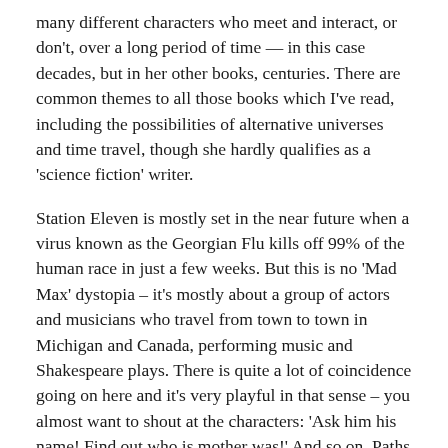many different characters who meet and interact, or don't, over a long period of time — in this case decades, but in her other books, centuries. There are common themes to all those books which I've read, including the possibilities of alternative universes and time travel, though she hardly qualifies as a 'science fiction' writer.
Station Eleven is mostly set in the near future when a virus known as the Georgian Flu kills off 99% of the human race in just a few weeks. But this is no 'Mad Max' dystopia – it's mostly about a group of actors and musicians who travel from town to town in Michigan and Canada, performing music and Shakespeare plays. There is quite a lot of coincidence going on here and it's very playful in that sense – you almost want to shout at the characters: 'Ask him his name! Find out who is mother was!' And so on. Paths cross and the